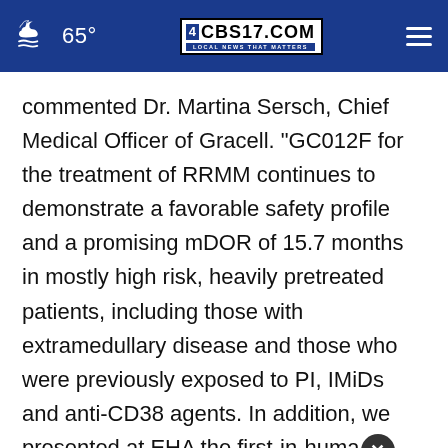65° CBS17.COM LOCAL NEWS THAT MATTERS
commented Dr. Martina Sersch, Chief Medical Officer of Gracell. "GC012F for the treatment of RRMM continues to demonstrate a favorable safety profile and a promising mDOR of 15.7 months in mostly high risk, heavily pretreated patients, including those with extramedullary disease and those who were previously exposed to PI, IMiDs and anti-CD38 agents. In addition, we presented at EHA the first-in-human data of GC012F in B-NHL, a potential second indication. We look forward to continuing developing this